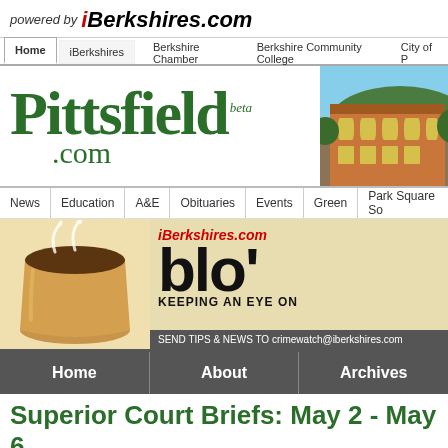powered by iBerkshires.com
[Figure (screenshot): Navigation tabs: Home (active), iBerkshires, Berkshire Chamber, Berkshire Community College, City of P...]
[Figure (logo): Pittsfield.com logo in green serif font with beta label, alongside a photo of a brick building]
[Figure (screenshot): Content navigation bar: News, Education, A&E, Obituaries, Events, Green, Park Square So...]
[Figure (screenshot): Banner ad for iBerkshires.com blog with coffee cup image, logo, blo' title, KEEPING AN EYE ON tagline, SEND TIPS & NEWS TO crimewatch@iberkshires.com]
[Figure (screenshot): Navigation bar with Home, About, Archives buttons on dark gray background]
Superior Court Briefs: May 2 - May 6
07:11PM / Friday, May 06, 2011